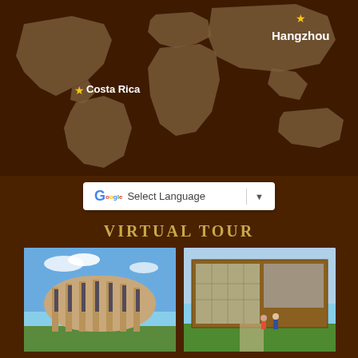[Figure (map): World map with dark brown background showing continents in lighter brown/taupe. Two gold star markers indicate locations: Costa Rica (in Central America) and Hangzhou (in eastern China). White text labels each location.]
Costa Rica
Hangzhou
[Figure (screenshot): Google Translate language selector widget: white rounded bar with Google G logo, text 'Select Language', vertical divider, and dropdown arrow.]
VIRTUAL TOUR
[Figure (photo): Curved brick building with large windows and columnar facade, blue sky backdrop, green lawn — campus building exterior.]
[Figure (photo): Modern glass-and-brick academic building with students walking on a pathway in front. Green lawn visible.]
[Figure (photo): Multi-story glass and concrete academic building surrounded by trees and landscaping under a blue sky.]
[Figure (photo): Dramatic angular brick tower or chapel with pointed spires, photographed from below against a white sky.]